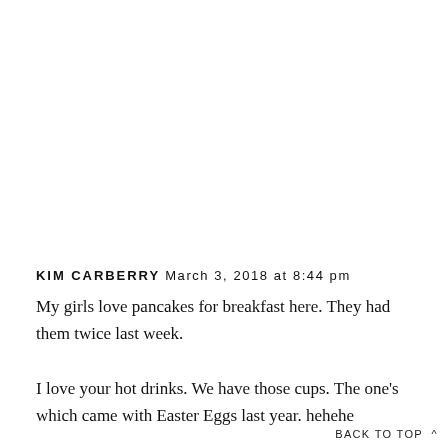KIM CARBERRY March 3, 2018 at 8:44 pm
My girls love pancakes for breakfast here. They had them twice last week.
I love your hot drinks. We have those cups. The one's which came with Easter Eggs last year. hehehe
The good deed jar sounds like a lovely idea.
BACK TO TOP ^